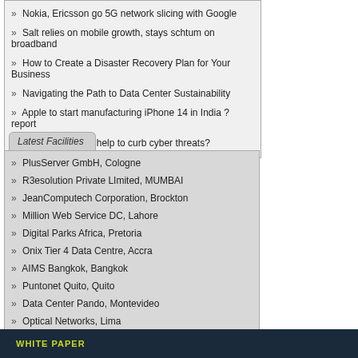» Nokia, Ericsson go 5G network slicing with Google
» Salt relies on mobile growth, stays schtum on broadband
» How to Create a Disaster Recovery Plan for Your Business
» Navigating the Path to Data Center Sustainability
» Apple to start manufacturing iPhone 14 in India ? report
» Can SASE really help to curb cyber threats?
Latest Facilities
» PlusServer GmbH, Cologne
» R3esolution Private LImited, MUMBAI
» JeanComputech Corporation, Brockton
» Million Web Service DC, Lahore
» Digital Parks Africa, Pretoria
» Onix Tier 4 Data Centre, Accra
» AIMS Bangkok, Bangkok
» Puntonet Quito, Quito
» Data Center Pando, Montevideo
» Optical Networks, Lima
WHITE PAPER